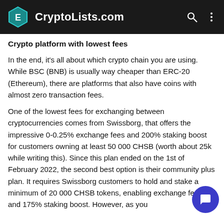CryptoLists.com
Crypto platform with lowest fees
In the end, it's all about which crypto chain you are using. While BSC (BNB) is usually way cheaper than ERC-20 (Ethereum), there are platforms that also have coins with almost zero transaction fees.
One of the lowest fees for exchanging between cryptocurrencies comes from Swissborg, that offers the impressive 0-0.25% exchange fees and 200% staking boost for customers owning at least 50 000 CHSB (worth about 25k while writing this). Since this plan ended on the 1st of February 2022, the second best option is their community plus plan. It requires Swissborg customers to hold and stake a minimum of 20 000 CHSB tokens, enabling exchange fees and 175% staking boost. However, as you